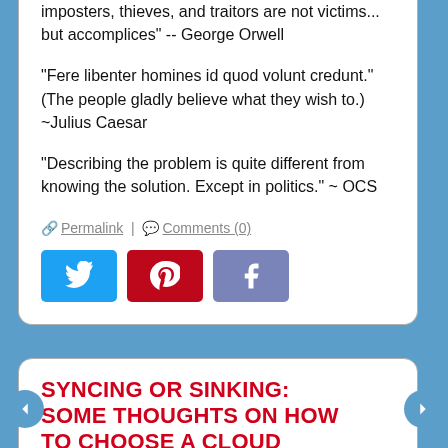imposters, thieves, and traitors are not victims... but accomplices" -- George Orwell
“Fere libenter homines id quod volunt credunt.” (The people gladly believe what they wish to.) ~Julius Caesar
“Describing the problem is quite different from knowing the solution. Except in politics.” ~ OCS
Permalink | Comments (0)
[Figure (other): Social share buttons: Twitter (blue), Pinterest (red), Facebook (blue-grey)]
SYNCING OR SINKING: SOME THOUGHTS ON HOW TO CHOOSE A CLOUD